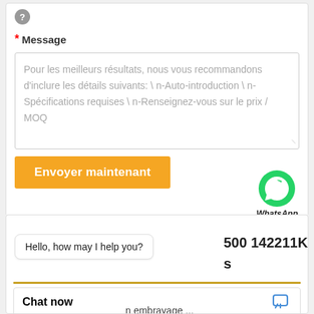[Figure (screenshot): Help/question mark icon (circular gray button)]
* Message
Pour les meilleurs résultats, nous vous recommandons d'inclure les détails suivants: \ n-Auto-introduction \ n-Spécifications requises \ n-Renseignez-vous sur le prix / MOQ
[Figure (logo): WhatsApp green phone icon with 'WhatsApp Online' text]
Envoyer maintenant
×
Hello, how may I help you?
500 142211KM
s
Chat now
n embrayage ...